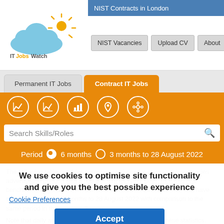[Figure (logo): ITJobsWatch logo: cloud with sun rays and text ITJobsWatch]
NIST Contracts in London
NIST Vacancies | Upload CV | About
Permanent IT Jobs | Contract IT Jobs (tabs)
[Figure (infographic): Orange icon bar with 5 circular white icons: line chart, chart with pound, bar chart, location pin, network graph]
Search Skills/Roles
Period  6 months  3 months to 28 August 2022
The following table provides summary statistics for contract job vacancies advertised in London with a requirement for NIST skills. Included is a benchmarking guide to the contractor rates offered in vacancies that have cited NIST over the 6 months to 28 August 2022 with comparison to the same period in the previous 2 years.
Note that daily and hourly rates are treated separately in these statistics. When calculating contractor rate percentiles, daily rates are never derived from quoted hourly rates or vice versa.
We use cookies to optimise site functionality and give you the best possible experience
Cookie Preferences
Accept
National Institute of Standards and Technology (NIST)